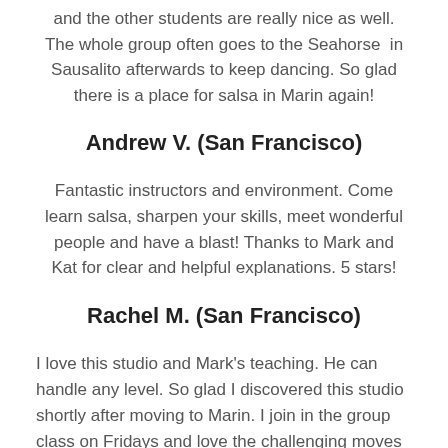and the other students are really nice as well. The whole group often goes to the Seahorse  in Sausalito afterwards to keep dancing. So glad there is a place for salsa in Marin again!
Andrew V. (San Francisco)
Fantastic instructors and environment. Come learn salsa, sharpen your skills, meet wonderful people and have a blast! Thanks to Mark and Kat for clear and helpful explanations. 5 stars!
Rachel M. (San Francisco)
I love this studio and Mark's teaching. He can handle any level. So glad I discovered this studio shortly after moving to Marin. I join in the group class on Fridays and love the challenging moves but also the fun he infuses into every class, and kids are around there for some, should be